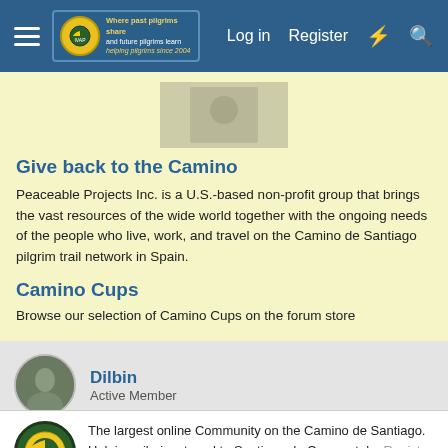Log in  Register
[Figure (screenshot): Blurred/placeholder image at top of yellow content block]
Give back to the Camino
Peaceable Projects Inc. is a U.S.-based non-profit group that brings the vast resources of the wide world together with the ongoing needs of the people who live, work, and travel on the Camino de Santiago pilgrim trail network in Spain.
Camino Cups
Browse our selection of Camino Cups on the forum store
Dilbin
Active Member
The largest online Community on the Camino de Santiago. Helping pilgrims travel to Santiago de Compostela. Register (free) or Log in to join.